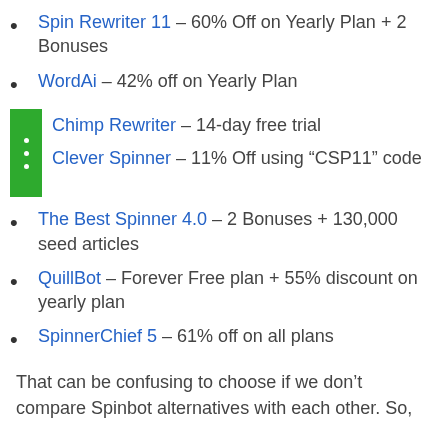Spin Rewriter 11 – 60% Off on Yearly Plan + 2 Bonuses
WordAi – 42% off on Yearly Plan
Chimp Rewriter – 14-day free trial
Clever Spinner – 11% Off using “CSP11” code
The Best Spinner 4.0 – 2 Bonuses + 130,000 seed articles
QuillBot – Forever Free plan + 55% discount on yearly plan
SpinnerChief 5 – 61% off on all plans
That can be confusing to choose if we don’t compare Spinbot alternatives with each other. So,